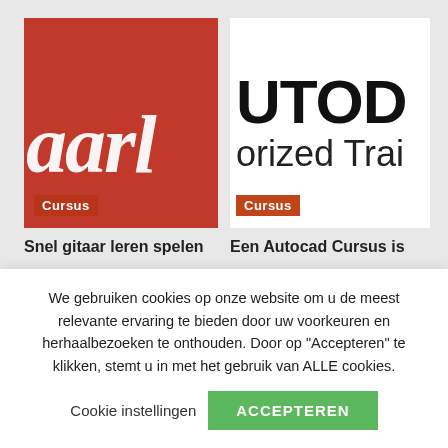[Figure (illustration): Red background image card with white cursive/italic text 'aarl' visible, and a 'Cursus' badge in dark red at bottom left]
[Figure (illustration): White background image card with bold black 'UTOD' text and 'orized Trai' text, and an orange 'Cursus' badge at bottom left]
Snel gitaar leren spelen
Een Autocad Cursus is
We gebruiken cookies op onze website om u de meest relevante ervaring te bieden door uw voorkeuren en herhaalbezoeken te onthouden. Door op "Accepteren" te klikken, stemt u in met het gebruik van ALLE cookies.
Cookie instellingen
ACCEPTEREN